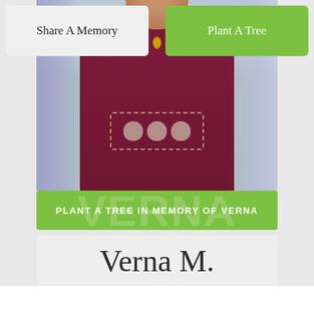[Figure (photo): Elderly woman wearing a dark maroon/burgundy top with decorative heart designs and a gold locket necklace, photographed against a floral curtain background.]
PLANT A TREE IN MEMORY OF VERNA
Verna M.
Share A Memory
Plant A Tree